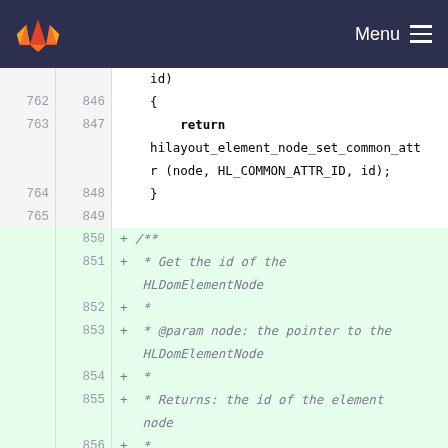Menu
[Figure (screenshot): GitLab-style code diff view showing C source code lines 762-766 (old) and 846-859 (new). Lines 850-858 are newly added (green background) showing a Doxygen comment block. Line 766/859 begins 'static inline const char*'.]